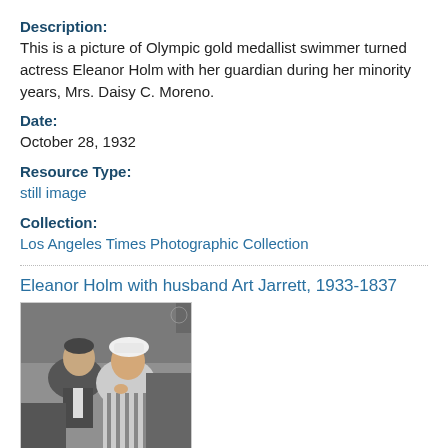Description:
This is a picture of Olympic gold medallist swimmer turned actress Eleanor Holm with her guardian during her minority years, Mrs. Daisy C. Moreno.
Date:
October 28, 1932
Resource Type:
still image
Collection:
Los Angeles Times Photographic Collection
Eleanor Holm with husband Art Jarrett, 1933-1837
[Figure (photo): Black and white photograph of Eleanor Holm with husband Art Jarrett, showing a man and a woman wearing a hat, sitting together.]